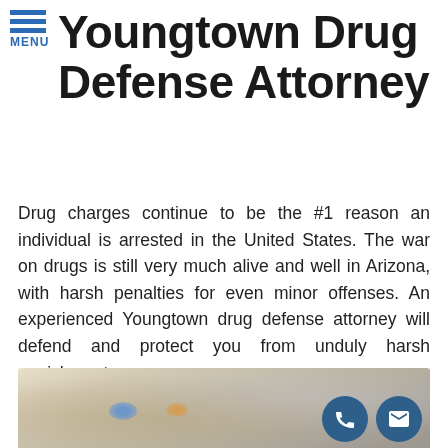MENU
Youngtown Drug Defense Attorney
Drug charges continue to be the #1 reason an individual is arrested in the United States. The war on drugs is still very much alive and well in Arizona, with harsh penalties for even minor offenses. An experienced Youngtown drug defense attorney will defend and protect you from unduly harsh punishments.
[Figure (photo): Blurry photo of a person (possibly a police officer) with flashing police car lights in the background, and two circular icons at bottom right: a phone icon and an email envelope icon.]